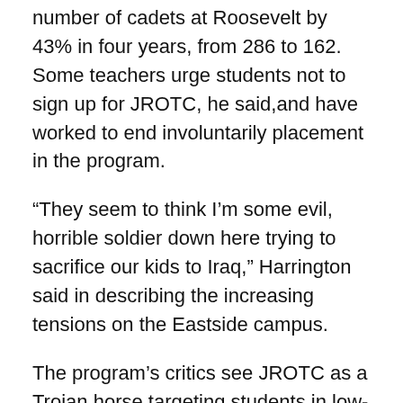number of cadets at Roosevelt by 43% in four years, from 286 to 162. Some teachers urge students not to sign up for JROTC, he said,and have worked to end involuntarily placement in the program.
“They seem to think I’m some evil, horrible soldier down here trying to sacrifice our kids to Iraq,” Harrington said in describing the increasing tensions on the Eastside campus.
The program’s critics see JROTC as a Trojan horse targeting students in low-income minority schools with high dropout rates. “We are a juicy target,” said Roosevelt social studies teacher Jorge Lopez.
At Roosevelt and other schools in the L.A. Unified School District, the anti-JROTC movement has helped drive a 24% drop in enrollment since 2003-04,